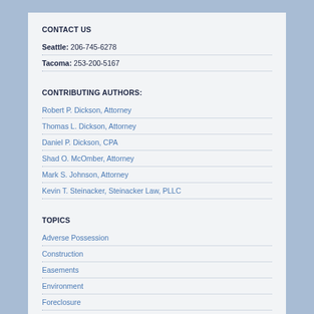CONTACT US
Seattle: 206-745-6278
Tacoma: 253-200-5167
CONTRIBUTING AUTHORS:
Robert P. Dickson, Attorney
Thomas L. Dickson, Attorney
Daniel P. Dickson, CPA
Shad O. McOmber, Attorney
Mark S. Johnson, Attorney
Kevin T. Steinacker, Steinacker Law, PLLC
TOPICS
Adverse Possession
Construction
Easements
Environment
Foreclosure
General